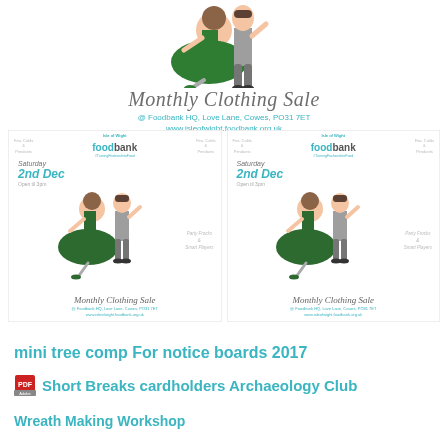[Figure (illustration): Illustrated dancing couple at top - woman in green dress, man in grey suit]
Monthly Clothing Sale
@ Foodbank HQ, Love Lane, Cowes, PO31 7ET
www.isleofwight.foodbank.org.uk
[Figure (illustration): Two side-by-side mini flyer thumbnails showing Isle of Wight Foodbank Monthly Clothing Sale - Saturday 2nd Dec, Open til 3pm, Party Frocks & Smart Players]
mini tree comp For notice boards 2017
Short Breaks cardholders Archaeology Club
Wreath Making Workshop